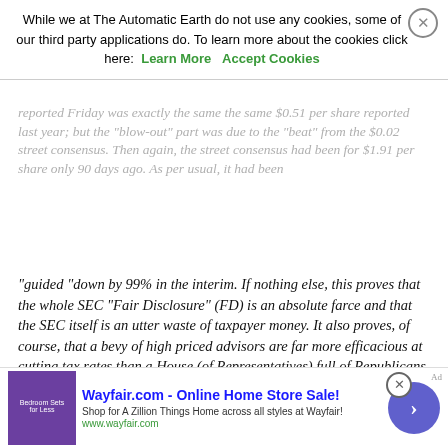reported Friday was exactly the same the same $0.51 per share reported last year; but the 'blow-out' part was due to the 'beat' from the $0.02 street consensus. Then again, the street consensus had been for $1.91 per share only 90 days ago. As per usual, it had been
"guided "down by 99% in the interim. If nothing else, this proves that the whole SEC "Fair Disclosure" (FD) is an absolute farce and that the SEC itself is an utter waste of taxpayer money. It also proves, of course, that a bevy of high priced advisors are far more efficacious at cutting tax rates than a House (of Representatives) full of Republicans foaming at the mouth about the topic. But how in the world does this kind of hyper-fiddling with accounting statement tax rates justify a market cap gain in one day ($63 billion) that exceeds the entire market cap of GM($61 billion) or Aetna ($57 billion)?
As it happened, Amazon's LTM net income of $1.926 billion for the quarter might be a slightly better indicator of its profitability because the company's four-quarter tax rate averaged out close to the US statutory rate, meaning that the company is being valued at
[Figure (screenshot): Cookie consent banner from The Automatic Earth website with Learn More and Accept Cookies links and a close button]
[Figure (screenshot): Wayfair.com advertisement banner: Online Home Store Sale! Shop for A Zillion Things Home across all styles at Wayfair! www.wayfair.com, with purple bedroom image and circular arrow button]